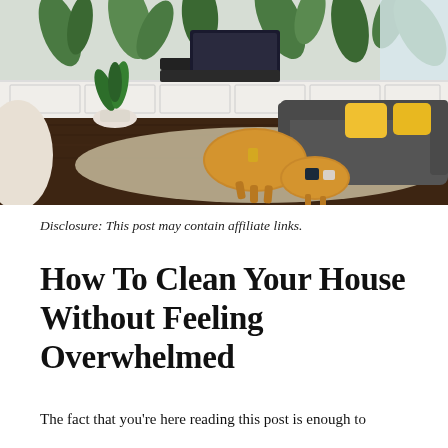[Figure (photo): A modern living room with tropical leaf wallpaper, a wall-mounted TV, dark gray sofa with yellow pillows, wooden kidney-shaped coffee table, a potted plant, and a light woven rug on a dark hardwood floor.]
Disclosure: This post may contain affiliate links.
How To Clean Your House Without Feeling Overwhelmed
The fact that you're here reading this post is enough to tell you that you probably like (or rather, "need") some